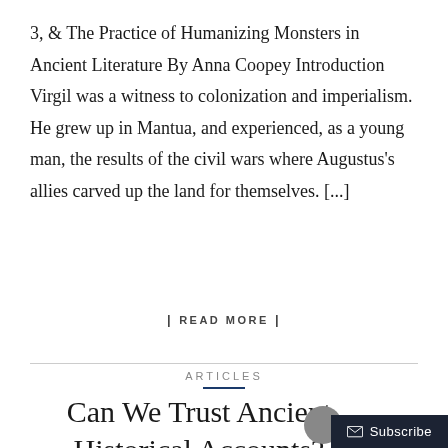3, & The Practice of Humanizing Monsters in Ancient Literature By Anna Coopey Introduction Virgil was a witness to colonization and imperialism. He grew up in Mantua, and experienced, as a young man, the results of the civil wars where Augustus's allies carved up the land for themselves. [...]
| READ MORE |
ARTICLES
Can We Trust Ancient Historical Accounts?